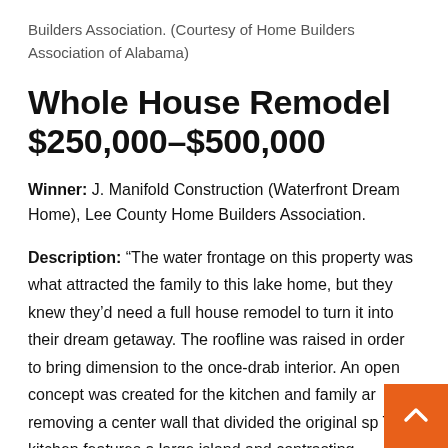Builders Association. (Courtesy of Home Builders Association of Alabama)
Whole House Remodel $250,000–$500,000
Winner: J. Manifold Construction (Waterfront Dream Home), Lee County Home Builders Association.
Description: “The water frontage on this property was what attracted the family to this lake home, but they knew they’d need a full house remodel to turn it into their dream getaway. The roofline was raised in order to bring dimension to the once-drab interior. An open concept was created for the kitchen and family ar… removing a center wall that divided the original sp… The kitchen features a large island and contrasting cabinets.